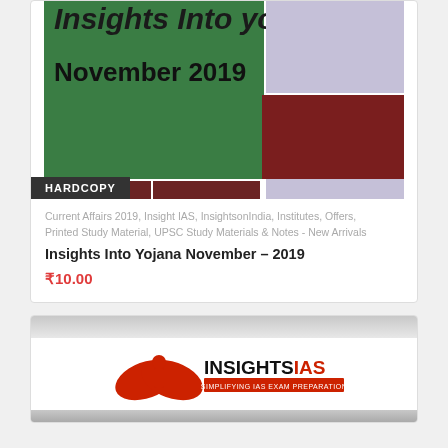[Figure (illustration): Book cover for Insights Into Yojana November 2019 with green, dark red, and lavender colored blocks forming a mosaic/cover design. Text shows 'Insights Into Yojana' and 'November 2019'. A 'HARDCOPY' badge appears at the bottom left.]
Current Affairs 2019, Insight IAS, InsightsonIndia, Institutes, Offers, Printed Study Material, UPSC Study Materials & Notes - New Arrivals
Insights Into Yojana November – 2019
₹10.00
[Figure (logo): InsightsIAS logo - red wing/book icon with text INSIGHTSIAS and tagline SIMPLIFYING IAS EXAM PREPARATION]